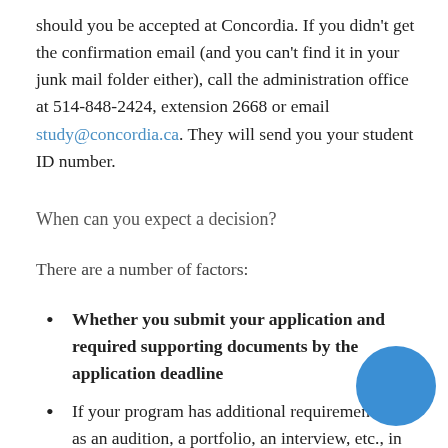should you be accepted at Concordia. If you didn't get the confirmation email (and you can't find it in your junk mail folder either), call the administration office at 514-848-2424, extension 2668 or email study@concordia.ca. They will send you your student ID number.
When can you expect a decision?
There are a number of factors:
Whether you submit your application and required supporting documents by the application deadline
If your program has additional requirements such as an audition, a portfolio, an interview, etc., in which c… committee will review your submission only afte… official application deadline